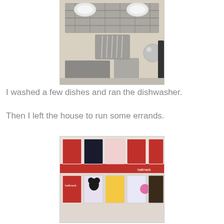[Figure (photo): Interior view of a dishwasher with dishes and utensils loaded inside, top rack visible with bowls and silverware basket]
I washed a few dishes and ran the dishwasher.
Then I left the house to run some errands.
[Figure (photo): Greeting card display shelf in a store, showing Hallmark brand cards with red and pink Valentine's Day themed cards and decorations]